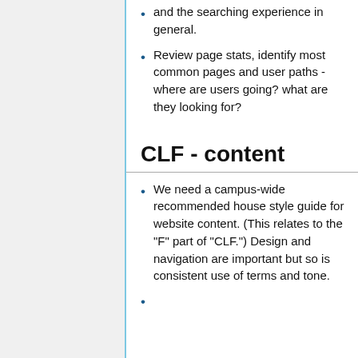and the searching experience in general.
Review page stats, identify most common pages and user paths - where are users going? what are they looking for?
CLF - content
We need a campus-wide recommended house style guide for website content. (This relates to the "F" part of "CLF.") Design and navigation are important but so is consistent use of terms and tone.